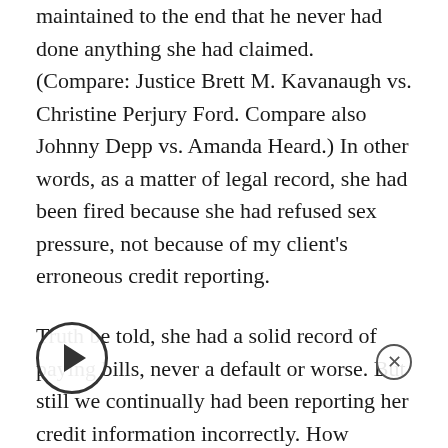maintained to the end that he never had done anything she had claimed. (Compare: Justice Brett M. Kavanaugh vs. Christine Perjury Ford. Compare also Johnny Depp vs. Amanda Heard.) In other words, as a matter of legal record, she had been fired because she had refused sex pressure, not because of my client's erroneous credit reporting.
Truth be told, she had a solid record of paying bills, never a default or worse. But still we continually had been reporting her credit information incorrectly. How justify that? And her surname was very unusual, so we presumably were not confusing her with another. And why had we not corrected her credit information after she had written us